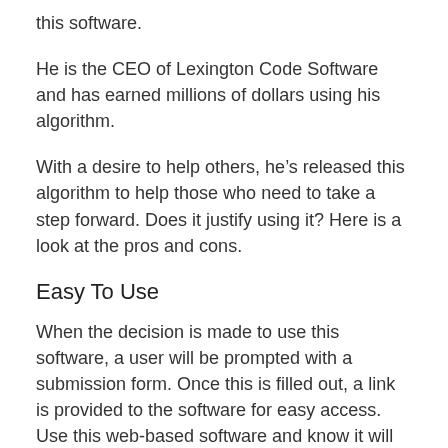this software.
He is the CEO of Lexington Code Software and has earned millions of dollars using his algorithm.
With a desire to help others, he’s released this algorithm to help those who need to take a step forward. Does it justify using it? Here is a look at the pros and cons.
Easy To Use
When the decision is made to use this software, a user will be prompted with a submission form. Once this is filled out, a link is provided to the software for easy access. Use this web-based software and know it will provide real value.